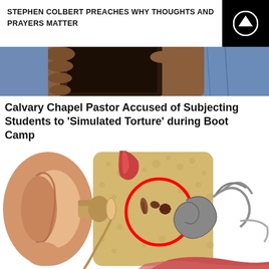STEPHEN COLBERT PREACHES WHY THOUGHTS AND PRAYERS MATTER
[Figure (photo): Close-up photo of hands holding a dark leather book (possibly a Bible), with denim jeans visible in the background]
Calvary Chapel Pastor Accused of Subjecting Students to 'Simulated Torture' during Boot Camp
[Figure (illustration): Medical illustration of the human inner ear anatomy, showing a cross-section with ear canal, eardrum, ossicles (hammer, anvil, stirrup), cochlea, and other structures. A red circle highlights the middle ear bones area.]